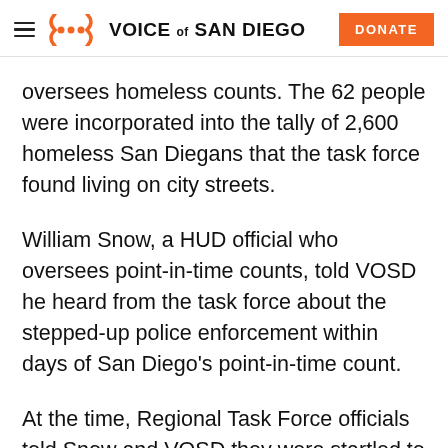Voice of San Diego
oversees homeless counts. The 62 people were incorporated into the tally of 2,600 homeless San Diegans that the task force found living on city streets.
William Snow, a HUD official who oversees point-in-time counts, told VOSD he heard from the task force about the stepped-up police enforcement within days of San Diego's point-in-time count.
At the time, Regional Task Force officials told Snow and VOSD they were startled to learn of